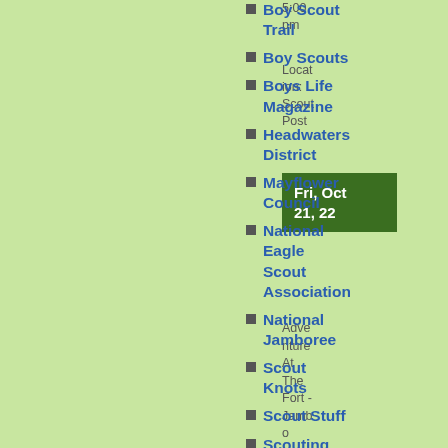5:00 pm
Location: Scout Post
Boy Scout Trail
Boy Scouts
Boys Life Magazine
Headwaters District
Mayflower Council
National Eagle Scout Association
National Jamboree
Scout Knots
Scout Stuff
Scouting
Fri, Oct 21, 22
Adventure At The Fort - Jambo
Sat, Oct 22, 22
Adventure
ARCHIVES